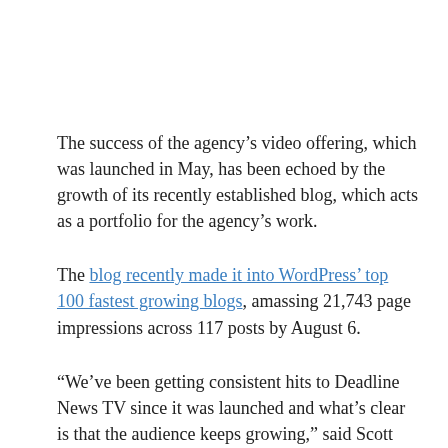The success of the agency's video offering, which was launched in May, has been echoed by the growth of its recently established blog, which acts as a portfolio for the agency's work.
The blog recently made it into WordPress' top 100 fastest growing blogs, amassing 21,743 page impressions across 117 posts by August 6.
“We’ve been getting consistent hits to Deadline News TV since it was launched and what’s clear is that the audience keeps growing,” said Scott Douglas, Deadline founder, in a press release.